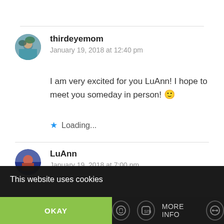[Figure (screenshot): User avatar for thirdeyemom — circular profile photo showing a person outdoors]
thirdeyemom
January 19, 2018 at 12:40 pm
I am very excited for you LuAnn! I hope to meet you someday in person! 🙂
★ Loading...
[Figure (screenshot): User avatar for LuAnn — circular profile photo]
LuAnn
January 19, 2018 at 7:00 pm
This website uses cookies
OKAY
MORE INFO